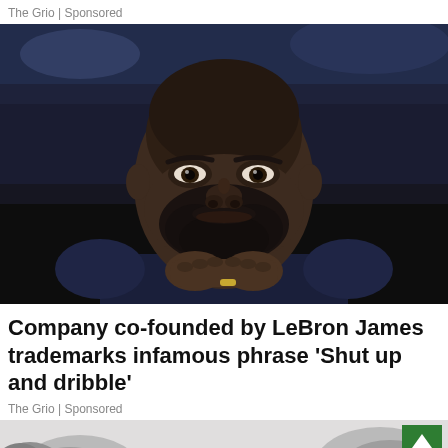The Grio | Sponsored
[Figure (photo): Close-up photo of LeBron James sitting courtside with hands clasped under chin, looking pensive, wearing dark clothing, arena crowd visible in background]
Company co-founded by LeBron James trademarks infamous phrase 'Shut up and dribble'
The Grio | Sponsored
[Figure (illustration): Partial illustration showing cartoon-style arms/hands with pink and grey coloring against light background, with green scroll-to-top button in upper right corner]